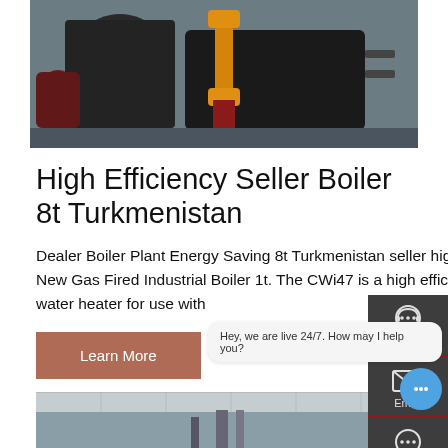[Figure (photo): Industrial boiler equipment in a factory/warehouse setting, showing large dark cylindrical boiler tanks and yellow/orange pipe fittings.]
High Efficiency Seller Boiler 8t Turkmenistan
Dealer Boiler Plant Energy Saving 8t Turkmenistan seller high efficiency 1t coal fired boiler georgia. High Efficiency New Gas Fired Industrial Boiler 1t. The CWi47 is a high efficiency high output gas-fired condensing continuous flow water heater for use with
Learn More
[Figure (photo): Industrial piping and equipment inside a facility, partially visible at bottom of page.]
Chat
Email
Contact
Hey, we are live 24/7. How may I help you?